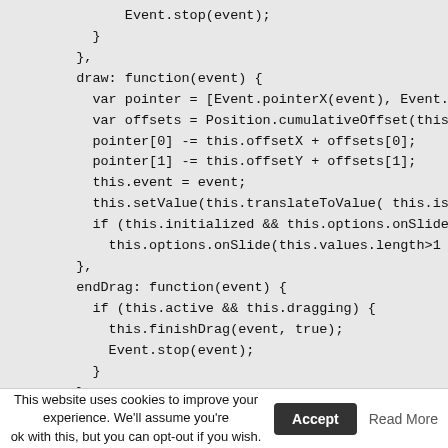Event.stop(event);
    }
  },
  draw: function(event) {
    var pointer = [Event.pointerX(event), Event.poir
    var offsets = Position.cumulativeOffset(this.tra
    pointer[0] -= this.offsetX + offsets[0];
    pointer[1] -= this.offsetY + offsets[1];
    this.event = event;
    this.setValue(this.translateToValue( this.isVert
    if (this.initialized && this.options.onSlide)
      this.options.onSlide(this.values.length>1 ? th
  },
  endDrag: function(event) {
    if (this.active && this.dragging) {
      this.finishDrag(event, true);
      Event.stop(event);
    }
  }
This website uses cookies to improve your experience. We'll assume you're ok with this, but you can opt-out if you wish.